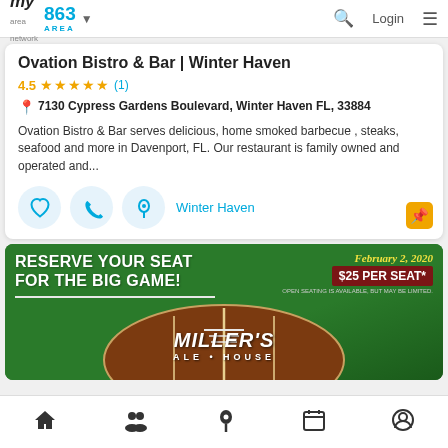my area network | 863 AREA | Search | Login | Menu
Ovation Bistro & Bar | Winter Haven
4.5 ★★★★★ (1)
7130 Cypress Gardens Boulevard, Winter Haven FL, 33884
Ovation Bistro & Bar serves delicious, home smoked barbecue , steaks, seafood and more in Davenport, FL. Our restaurant is family owned and operated and...
Winter Haven
[Figure (photo): Advertisement banner for Miller's Ale House Super Bowl party. Green background with football image. Text: RESERVE YOUR SEAT FOR THE BIG GAME! February 2, 2020 $25 PER SEAT* MILLER'S ALE HOUSE]
Home | People | Location | Calendar | Profile